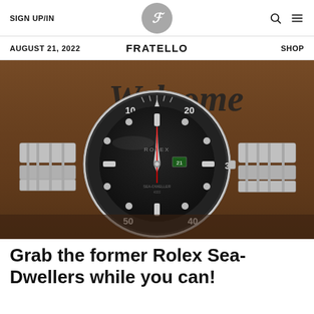SIGN UP/IN | FRATELLO | SHOP
AUGUST 21, 2022 | FRATELLO | SHOP
[Figure (photo): Close-up photograph of a Rolex Sea-Dweller watch with black dial and bezel, stainless steel bracelet, sitting on a wooden surface with a decorative 'Welcome' sign in the background.]
Grab the former Rolex Sea-Dwellers while you can!